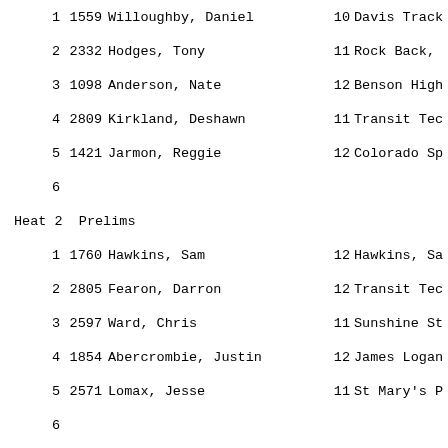1  1559 Willoughby, Daniel  10 Davis Track
2  2332 Hodges, Tony  11 Rock Back,
3  1098 Anderson, Nate  12 Benson High
4  2809 Kirkland, Deshawn  11 Transit Tec
5  1421 Jarmon, Reggie  12 Colorado Sp
6
Heat 2  Prelims
1  1760 Hawkins, Sam  12 Hawkins, Sa
2  2805 Fearon, Darron  12 Transit Tec
3  2597 Ward, Chris  11 Sunshine St
4  1854 Abercrombie, Justin  12 James Logan
5  2571 Lomax, Jesse  11 St Mary's P
6
Heat 3  Prelims
1  1354 Noonan, Patrick  11 Cheyenne Ce